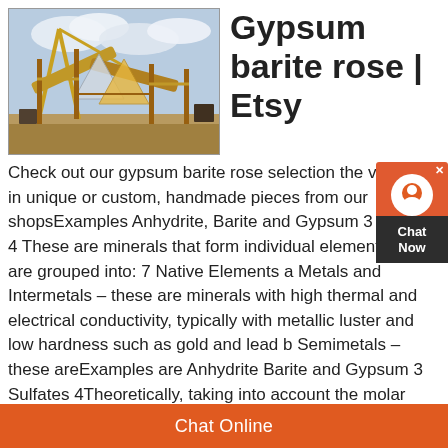[Figure (photo): Industrial mining or crushing plant with conveyor belts, large machinery structures against a cloudy sky]
Gypsum barite rose | Etsy
Check out our gypsum barite rose selection the very best in unique or custom, handmade pieces from our shopsExamples Anhydrite, Barite and Gypsum 3 Sulfates 4 These are minerals that form individual element These are grouped into: 7 Native Elements a Metals and Intermetals – these are minerals with high thermal and electrical conductivity, typically with metallic luster and low hardness such as gold and lead b Semimetals – these areExamples are Anhydrite Barite and Gypsum 3 Sulfates 4Theoretically, taking into account the molar volume (V m) of the two mineral phases, there would be a 35% reduction during the replacement
Chat Online